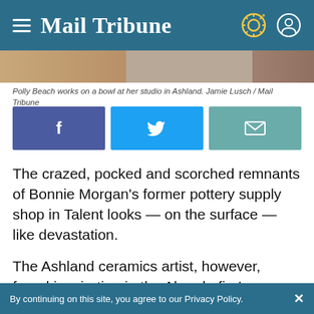Mail Tribune
[Figure (photo): Partial image strip showing photos of pottery and studio]
Polly Beach works on a bowl at her studio in Ashland. Jamie Lusch / Mail Tribune
[Figure (infographic): Social share buttons: Facebook, Twitter, Email]
The crazed, pocked and scorched remnants of Bonnie Morgan’s former pottery supply shop in Talent looks — on the surface — like devastation.
The Ashland ceramics artist, however, found inspiration in the Almeda fire’s aftermath and
By continuing on this site, you agree to our Privacy Policy.